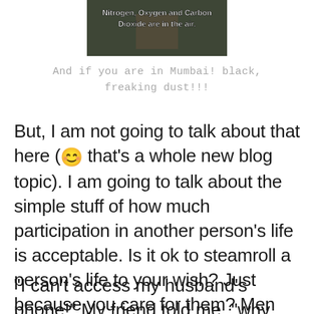[Figure (illustration): Meme image with text overlay reading 'Nitrogen, Oxygen and Carbon Dioxide are in the air.' on a dark background with a person visible.]
And if you are in Mumbai! black, freaking dust!!!
But, I am not going to talk about that here (😊 that's a whole new blog topic). I am going to talk about the simple stuff of how much participation in another person's life is acceptable. Is it ok to steamroll a person's life to your wish? Just because you care for them? Men and women do this.
“I can’t access my husband’s phone!” My friend told me, “why has